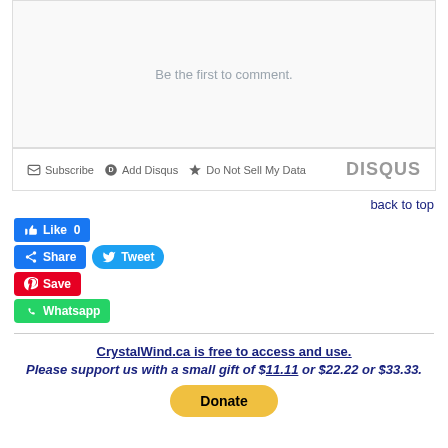[Figure (screenshot): Disqus comment box showing 'Be the first to comment.' placeholder text with Subscribe, Add Disqus, Do Not Sell My Data links and DISQUS branding]
back to top
[Figure (screenshot): Social sharing buttons: Like 0 (Facebook), Share (Facebook), Tweet (Twitter), Save (Pinterest), Whatsapp (WhatsApp)]
CrystalWind.ca is free to access and use. Please support us with a small gift of $11.11 or $22.22 or $33.33.
[Figure (screenshot): Yellow PayPal Donate button]